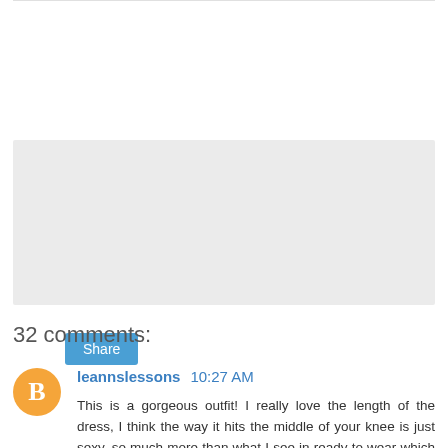[Figure (other): Gray placeholder/advertisement box with a Share button]
32 comments:
leannslessons  10:27 AM
This is a gorgeous outfit! I really love the length of the dress, I think the way it hits the middle of your knee is just sexy, so much more than what I see in ready to wear which is lengths only l6 year olds look good in, and some of them not even. The fabric choice for the dress is just lovely and the details of the jacket are a perfect counterpoint. Well done!